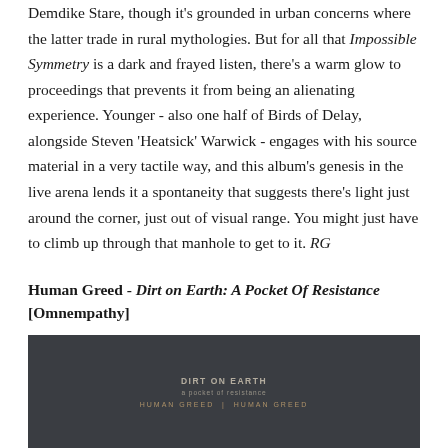Demdike Stare, though it's grounded in urban concerns where the latter trade in rural mythologies. But for all that Impossible Symmetry is a dark and frayed listen, there's a warm glow to proceedings that prevents it from being an alienating experience. Younger - also one half of Birds of Delay, alongside Steven 'Heatsick' Warwick - engages with his source material in a very tactile way, and this album's genesis in the live arena lends it a spontaneity that suggests there's light just around the corner, just out of visual range. You might just have to climb up through that manhole to get to it. RG
Human Greed - Dirt on Earth: A Pocket Of Resistance [Omnempathy]
[Figure (photo): Dark album cover image for 'Dirt on Earth: A Pocket of Resistance' by Human Greed, showing text on a dark grey/charcoal background with the album title, subtitle 'a pocket of resistance', and artist name in faint golden/beige text.]